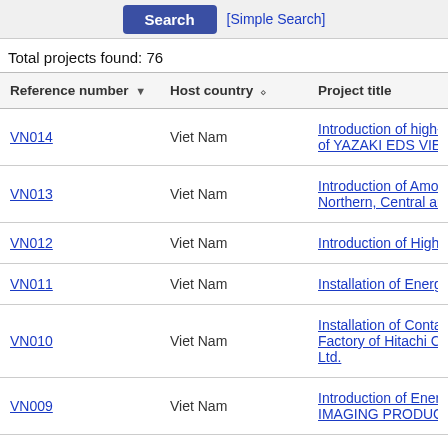Search  [Simple Search]
Total projects found: 76
| Reference number | Host country | Project title |
| --- | --- | --- |
| VN014 | Viet Nam | Introduction of high-efficient wir... of YAZAKI EDS VIETNAM Co., ... |
| VN013 | Viet Nam | Introduction of Amorphous High... Northern, Central and Southern... |
| VN012 | Viet Nam | Introduction of High Efficiency W... |
| VN011 | Viet Nam | Installation of Energy Saving Eq... |
| VN010 | Viet Nam | Installation of Container Format... Factory of Hitachi Chemical Ene... Ltd. |
| VN009 | Viet Nam | Introduction of Energy-Efficient ... IMAGING PRODUCTS (Vietnam... |